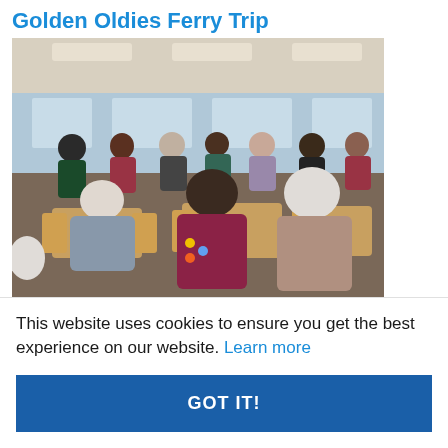Golden Oldies Ferry Trip
[Figure (photo): People socialising on a ferry interior; elderly people seated at wooden tables in the foreground, others standing and mingling in the background; a younger woman in a maroon jacket with badges is prominently visible in the centre foreground.]
This website uses cookies to ensure you get the best experience on our website. Learn more
GOT IT!